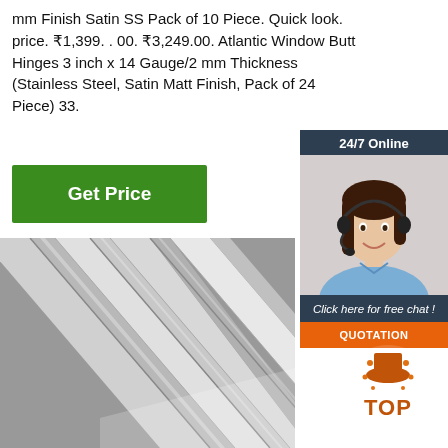mm Finish Satin SS Pack of 10 Piece. Quick look. price. ₹1,399. . 00. ₹3,249.00. Atlantic Window Butt Hinges 3 inch x 14 Gauge/2 mm Thickness (Stainless Steel, Satin Matt Finish, Pack of 24 Piece) 33.
Get Price
[Figure (screenshot): Advertisement widget with '24/7 Online' banner, customer service agent photo (woman with headset), 'Click here for free chat!' text, and orange 'QUOTATION' button on dark blue background]
[Figure (photo): Close-up photo of stainless steel flat bar strips showing satin finish, arranged diagonally]
[Figure (logo): TOP badge/logo in bottom right corner, orange and brown colors]